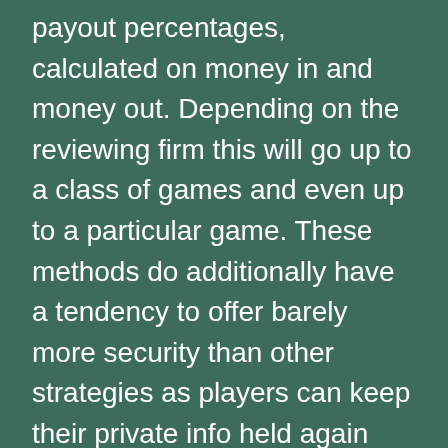In this report you can see online casino payout percentages, calculated on money in and money out. Depending on the reviewing firm this will go up to a class of games and even up to a particular game. These methods do additionally have a tendency to offer barely more security than other strategies as players can keep their private info held again slightly from the online casinos. This is much more the case when utilizing crypto to pay because it signifies that players can actually hold some form of anonymity when using this technique. When depositing from ewallets the min deposit is decrease then different strategies, this has